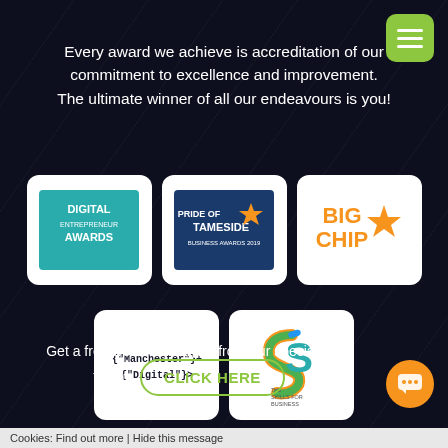Every award we achieve is accreditation of our commitment to excellence and improvement. The ultimate winner of all our endeavours is you!
[Figure (logo): Digital Entrepreneur Awards logo - teal background with white text]
[Figure (logo): Pride of Tameside Business Awards 2019 logo - dark blue background with orange star]
[Figure (logo): Big Chip logo - orange text with orange star]
[Figure (logo): Manchester Digital logo - dark background with code-style text]
[Figure (logo): Skills for Business Awards logo - multicolor S swirl]
Get a free website analysis from our specialist team.
CLICK HERE
Cookies: Find out more | Hide this message